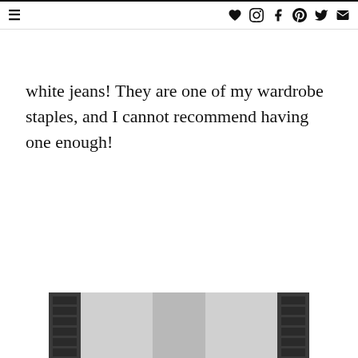≡ [social icons: heart, instagram, facebook, pinterest, twitter, email]
white jeans! They are one of my wardrobe staples, and I cannot recommend having one enough!
[Figure (photo): Black and white photo of a person, partially visible at the bottom of the page, appearing to show a fashion/outfit photo]